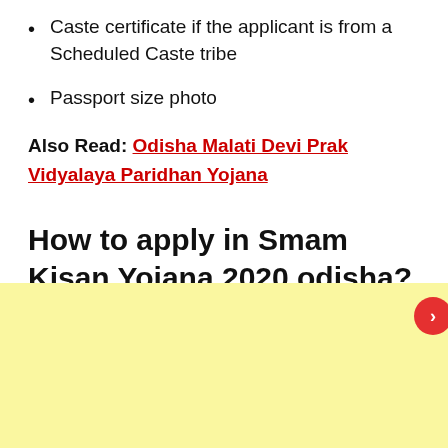Caste certificate if the applicant is from a Scheduled Caste tribe
Passport size photo
Also Read: Odisha Malati Devi Prak Vidyalaya Paridhan Yojana
How to apply in Smam Kisan Yojana 2020 odisha?
[Figure (other): Yellow highlighted box area, possibly for an advertisement or content block, with a red circular button on the right side]